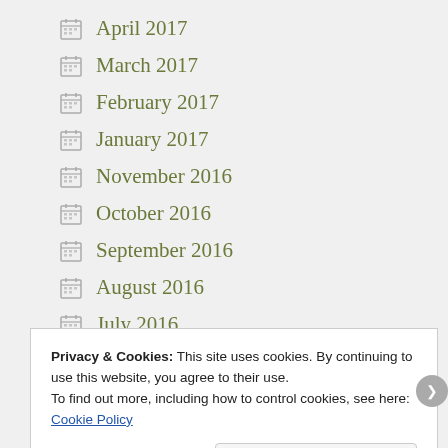April 2017
March 2017
February 2017
January 2017
November 2016
October 2016
September 2016
August 2016
July 2016
Privacy & Cookies: This site uses cookies. By continuing to use this website, you agree to their use.
To find out more, including how to control cookies, see here: Cookie Policy
Close and accept